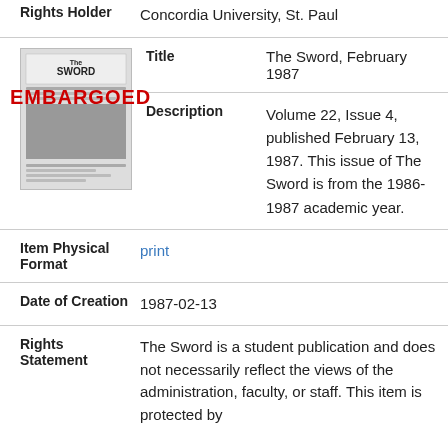Rights Holder: Concordia University, St. Paul
[Figure (illustration): Thumbnail of The Sword newspaper cover with EMBARGOED overlay text in red]
Title: The Sword, February 1987
Description: Volume 22, Issue 4, published February 13, 1987. This issue of The Sword is from the 1986-1987 academic year.
Item Physical Format: print
Date of Creation: 1987-02-13
Rights Statement: The Sword is a student publication and does not necessarily reflect the views of the administration, faculty, or staff. This item is protected by